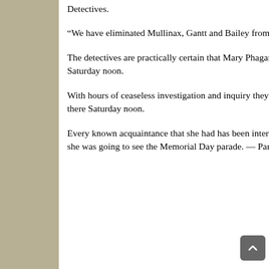Detectives.
“We have eliminated Mullinax, Gantt and Bailey from suspicion,” said a detective.
The detectives are practically certain that Mary Phagan never left the pencil factory after she got her pay envelope from Frank Saturday noon.
With hours of ceaseless investigation and inquiry they have been utterly unable to trace her away from the factory after she entered there Saturday noon.
Every known acquaintance that she had has been interviewed. None of them saw her on the street Saturday night, although she said she was going to see the Memorial Day parade. — Paragraphs in brackets added from an “Extra” edition of this newspaper — Ed.]